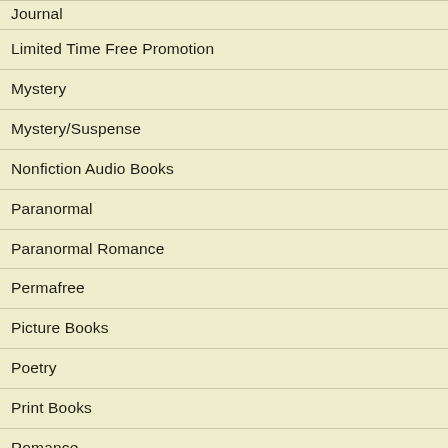Journal
Limited Time Free Promotion
Mystery
Mystery/Suspense
Nonfiction Audio Books
Paranormal
Paranormal Romance
Permafree
Picture Books
Poetry
Print Books
Romance